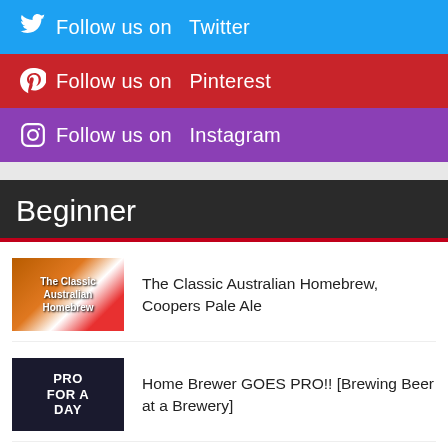Follow us on Twitter
Follow us on Pinterest
Follow us on Instagram
Beginner
The Classic Australian Homebrew, Coopers Pale Ale
Home Brewer GOES PRO!! [Brewing Beer at a Brewery]
A Beginners Guide To Brewing Beer – Part 3 – Cleaning…